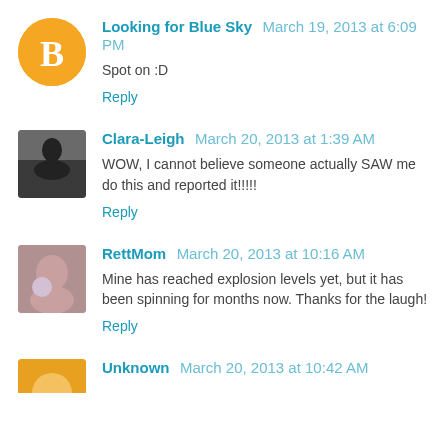Looking for Blue Sky March 19, 2013 at 6:09 PM
Spot on :D
Reply
Clara-Leigh March 20, 2013 at 1:39 AM
WOW, I cannot believe someone actually SAW me do this and reported it!!!!!
Reply
RettMom March 20, 2013 at 10:16 AM
Mine has reached explosion levels yet, but it has been spinning for months now. Thanks for the laugh!
Reply
Unknown March 20, 2013 at 10:42 AM